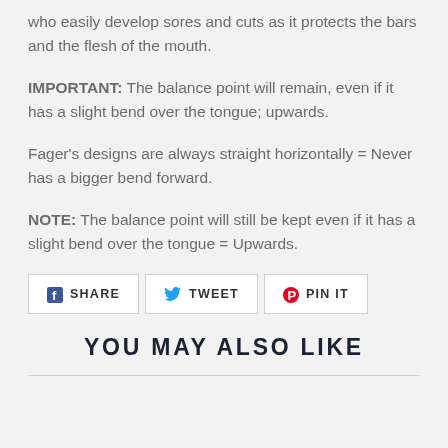who easily develop sores and cuts as it protects the bars and the flesh of the mouth.
IMPORTANT: The balance point will remain, even if it has a slight bend over the tongue; upwards.
Fager’s designs are always straight horizontally = Never has a bigger bend forward.
NOTE: The balance point will still be kept even if it has a slight bend over the tongue = Upwards.
[Figure (infographic): Social sharing buttons: SHARE (Facebook), TWEET (Twitter), PIN IT (Pinterest)]
YOU MAY ALSO LIKE